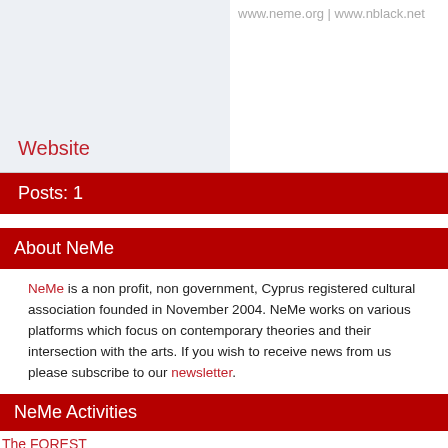www.neme.org | www.nblack.net
Website
Posts: 1
About NeMe
NeMe is a non profit, non government, Cyprus registered cultural association founded in November 2004. NeMe works on various platforms which focus on contemporary theories and their intersection with the arts. If you wish to receive news from us please subscribe to our newsletter.
NeMe Activities
The FOREST
Through the Mesh: Media, Borders, and Firewalls
Rose Butler: Research & methods of art practice
Working towards our own obsolescence
Reprogramming earth
The Event of a Thread: Global Narratives in Textiles